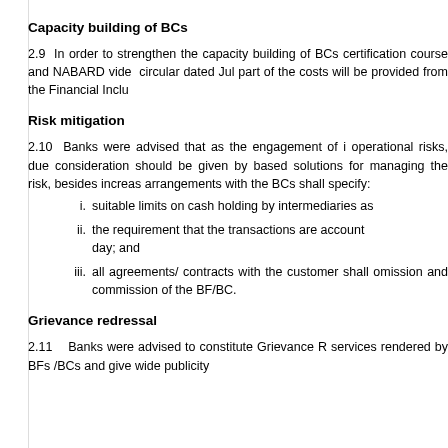Capacity building of BCs
2.9  In order to strengthen the capacity building of BCs certification course and NABARD vide  circular dated Jul part of the costs will be provided from the Financial Inclu
Risk mitigation
2.10  Banks were advised that as the engagement of intermediaries operational risks, due consideration should be given by banks for technology-based solutions for managing the risk, besides increasing insurance arrangements with the BCs shall specify:
i. suitable limits on cash holding by intermediaries as
ii. the requirement that the transactions are accounted day; and
iii. all agreements/ contracts with the customer shall omission and commission of the BF/BC.
Grievance redressal
2.11  Banks were advised to constitute Grievance R services rendered by BFs /BCs and give wide publicity